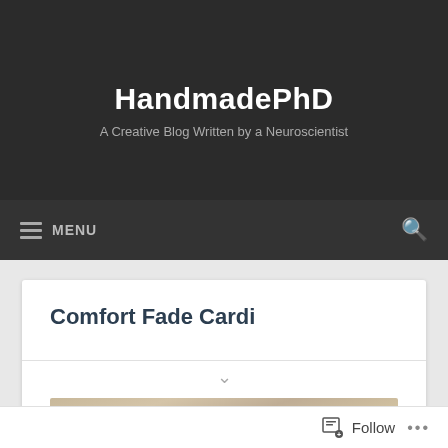HandmadePhD
A Creative Blog Written by a Neuroscientist
MENU
Comfort Fade Cardi
[Figure (photo): Partial photo of a colorful knitted item on a wood grain surface]
Follow